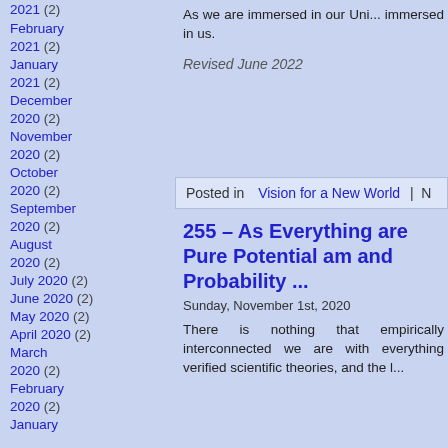2021 (2)
February 2021 (2)
January 2021 (2)
December 2020 (2)
November 2020 (2)
October 2020 (2)
September 2020 (2)
August 2020 (2)
July 2020 (2)
June 2020 (2)
May 2020 (2)
April 2020 (2)
March 2020 (2)
February 2020 (2)
January
As we are immersed in our Uni... immersed in us.
Revised June 2022
Posted in Vision for a New World | N...
255 – As Everything are Pure Potential am and Probability ...
Sunday, November 1st, 2020
There is nothing that empirically interconnected we are with everything verified scientific theories, and the l...